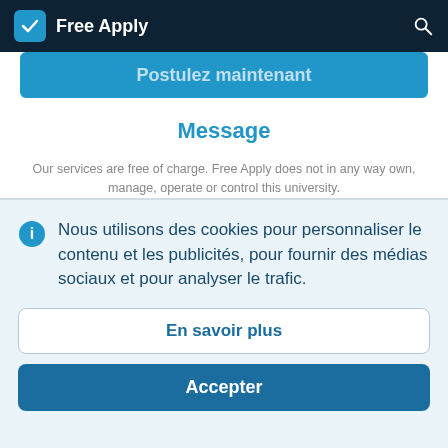Free Apply
[Figure (screenshot): Postulez maintenant button - partially visible blue button]
Message
Our services are free of charge. Free Apply does not in any way own, manage, operate or control this university.
Nous utilisons des cookies pour personnaliser le contenu et les publicités, pour fournir des médias sociaux et pour analyser le trafic.
En savoir plus
Accepter